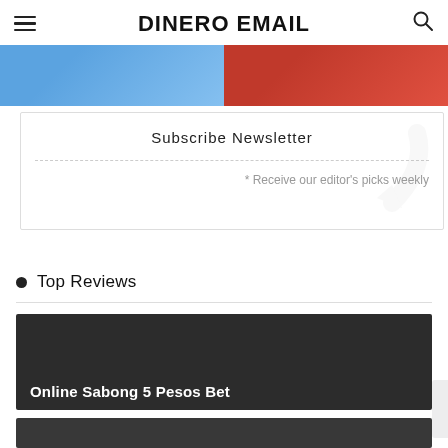DINERO EMAIL
[Figure (photo): Two cropped article thumbnail images side by side at top of page — left image with blue tones, right image with red tones]
Subscribe Newsletter
* Receive our editor's picks weekly
Top Reviews
[Figure (photo): Dark card with title 'Online Sabong 5 Pesos Bet' on dark background]
[Figure (photo): Partial second dark card visible at bottom of page]